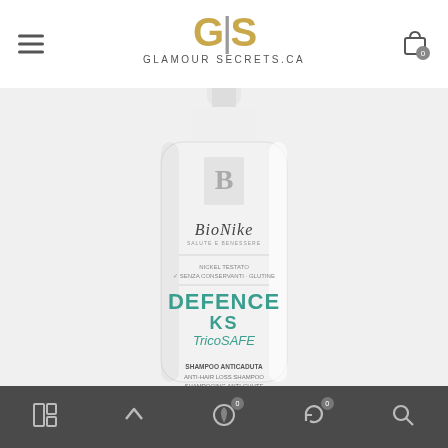GS GLAMOUR SECRETS.CA
[Figure (photo): BioNike Defence KS TricoSAFE Anti-Hair Loss Shampoo product bottle — white pump bottle with teal/green text showing brand name BioNike, product line DEFENCE KS TricoSAFE, and text SHAMPOO ANTICADUTA / ANTI-HAIR LOSS SHAMPOO / SHAMPOOING ANTI-CHUTE]
Navigation bar with icons: grid/layout, up-arrow, moon with badge 0, refresh with badge 0, search